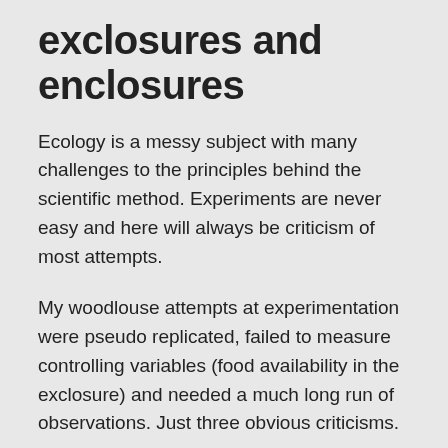exclosures and enclosures
Ecology is a messy subject with many challenges to the principles behind the scientific method. Experiments are never easy and here will always be criticism of most attempts.
My woodlouse attempts at experimentation were pseudo replicated, failed to measure controlling variables (food availability in the exclosure) and needed a much long run of observations. Just three obvious criticisms.
But I learned a great deal about these innate complexities and the difficulties of real world experiments. That was, after all, one of the reasons to take on a research degree.